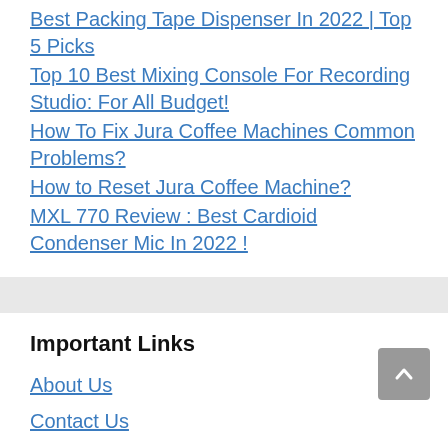Best Packing Tape Dispenser In 2022 | Top 5 Picks
Top 10 Best Mixing Console For Recording Studio: For All Budget!
How To Fix Jura Coffee Machines Common Problems?
How to Reset Jura Coffee Machine?
MXL 770 Review : Best Cardioid Condenser Mic In 2022 !
Important Links
About Us
Contact Us